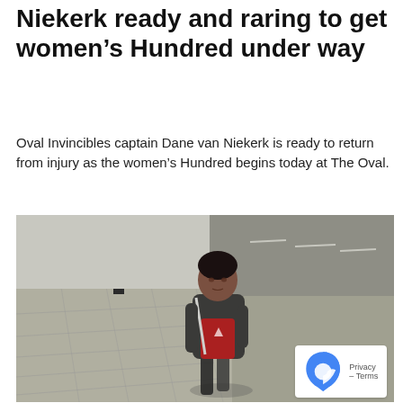Niekerk ready and raring to get women's Hundred under way
Oval Invincibles captain Dane van Niekerk is ready to return from injury as the women's Hundred begins today at The Oval.
[Figure (photo): CCTV-style overhead photograph of a young woman walking on a paved street, wearing a dark jacket over a red Adidas top, carrying a bag over her shoulder. A privacy/reCAPTCHA badge is visible in the lower right corner.]